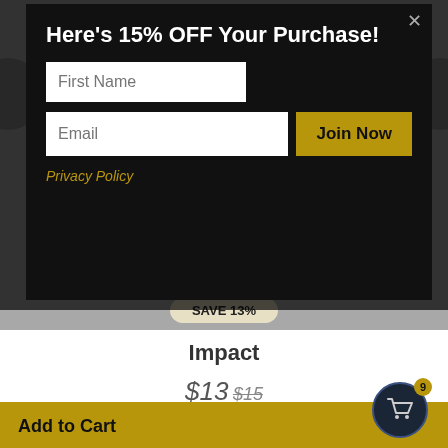Here's 15% OFF Your Purchase!
First Name
Email
Join Now
Privacy Policy
[Figure (screenshot): Modal popup with 15% off discount offer over a product page showing 'Impact' by Glitchedtones. Product shows explosion graphic, SAVE 13% badge, $13 sale price crossed out from $15, and Add to Cart button.]
SAVE 13%
Impact
$13 $15
Add to Cart